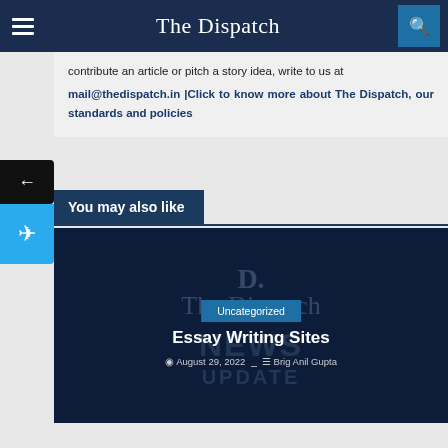The Dispatch
contribute an article or pitch a story idea, write to us at mail@thedispatch.in |Click to know more about The Dispatch, our standards and policies
You may also like
[Figure (screenshot): The Dispatch news site logo/watermark card showing 'D. The Dispatch NEWS UPDATE' with Uncategorized badge, article title 'Essay Writing Sites', date August 29, 2022, author Brig Anil Gupta]